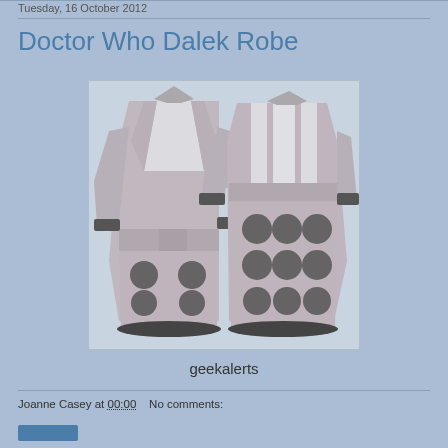Tuesday, 16 October 2012
Doctor Who Dalek Robe
[Figure (photo): Front and back view of a Doctor Who Dalek-themed bathrobe. The robe is light grey/silver with dark circular spots (Dalek bumps) on the lower portion. The front view shows the robe open with a belt, and the back view shows the distinctive Dalek panel pattern with vertical stripes and multiple dark circular dots.]
geekalerts
Joanne Casey at 00:00   No comments: